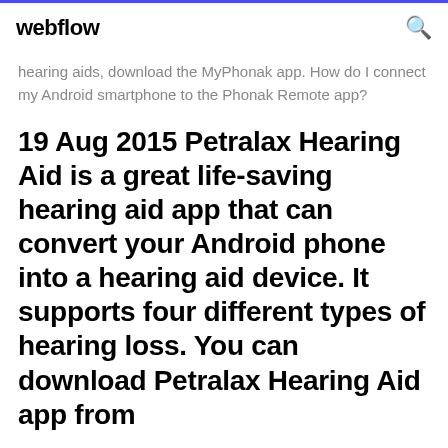webflow
hearing aids, download the MyPhonak app. How do I connect my Android smartphone to the Phonak Remote app?
19 Aug 2015 Petralax Hearing Aid is a great life-saving hearing aid app that can convert your Android phone into a hearing aid device. It supports four different types of hearing loss. You can download Petralax Hearing Aid app from
The EVOKE hearing aid app works with Android